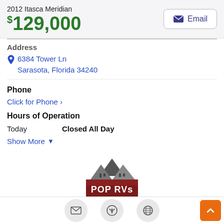2012 Itasca Meridian
$129,000
Address
6384 Tower Ln
Sarasota, Florida 34240
Phone
Click for Phone ›
Hours of Operation
Today   Closed All Day
Show More
[Figure (logo): POP RVs logo — shield shape with mountains, red background, text: POP RVs, WHERE WILL FREEDOM TAKE YOU]